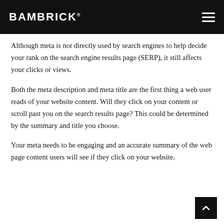BAMBRICK
Although meta is not directly used by search engines to help decide your rank on the search engine results page (SERP), it still affects your clicks or views.
Both the meta description and meta title are the first thing a web user reads of your website content. Will they click on your content or scroll past you on the search results page? This could be determined by the summary and title you choose.
Your meta needs to be engaging and an accurate summary of the web page content users will see if they click on your website.